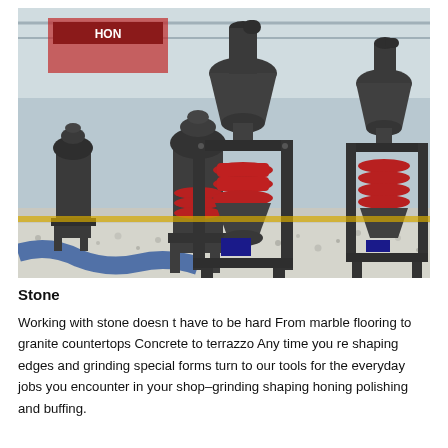[Figure (photo): Industrial photo of multiple large stone grinding machines with funnel/cone heads mounted on metal frames, arranged inside a large covered facility with a white gravel floor. Red spring mechanisms visible on the machines. A blue hose is visible in the foreground.]
Stone
Working with stone doesn t have to be hard From marble flooring to granite countertops Concrete to terrazzo Any time you re shaping edges and grinding special forms turn to our tools for the everyday jobs you encounter in your shop–grinding shaping honing polishing and buffing.